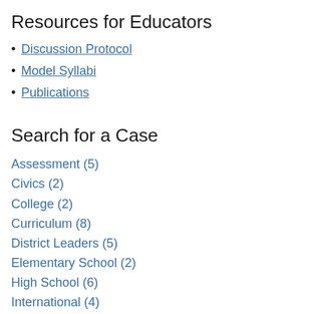Resources for Educators
Discussion Protocol
Model Syllabi
Publications
Search for a Case
Assessment (5)
Civics (2)
College (2)
Curriculum (8)
District Leaders (5)
Elementary School (2)
High School (6)
International (4)
Middle School (2)
Rural (7)